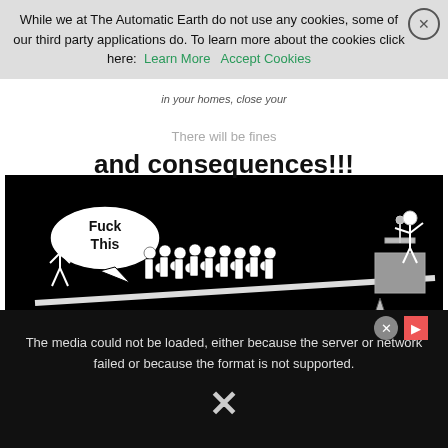While we at The Automatic Earth do not use any cookies, some of our third party applications do. To learn more about the cookies click here: Learn More  Accept Cookies
[Figure (illustration): Black and white cartoon illustration of a crowd of people on a seesaw/plank tipping away from a politician speaking at a podium. A speech bubble says 'Fuck This'. Text above reads 'There will be fines and consequences!!!']
The media could not be loaded, either because the server or network failed or because the format is not supported.